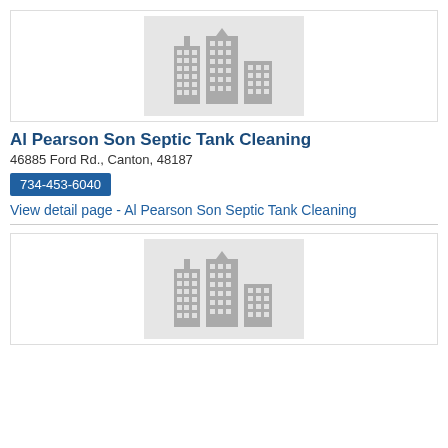[Figure (illustration): Building/cityscape placeholder icon on gray background]
Al Pearson Son Septic Tank Cleaning
46885 Ford Rd., Canton, 48187
734-453-6040
View detail page - Al Pearson Son Septic Tank Cleaning
[Figure (illustration): Building/cityscape placeholder icon on gray background]